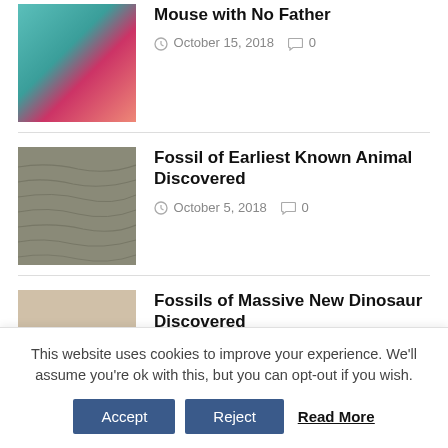[Figure (photo): Mouse held in gloved hands with teal/green gloves]
Mouse with No Father
October 15, 2018  0
[Figure (photo): Close-up of fossil or textured stone surface]
Fossil of Earliest Known Animal Discovered
October 5, 2018  0
[Figure (photo): Dinosaur fossil or illustration]
Fossils of Massive New Dinosaur Discovered
October 1, 2018  0
This website uses cookies to improve your experience. We'll assume you're ok with this, but you can opt-out if you wish.
Accept  Reject  Read More